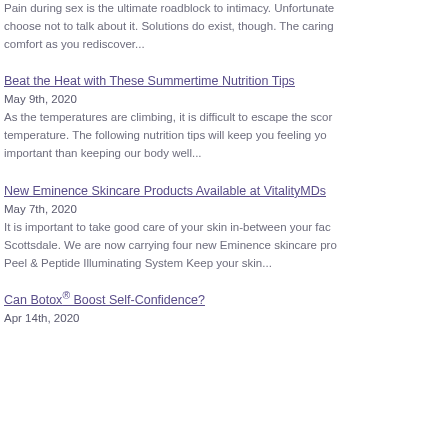Pain during sex is the ultimate roadblock to intimacy. Unfortunately, choose not to talk about it. Solutions do exist, though. The caring comfort as you rediscover...
Beat the Heat with These Summertime Nutrition Tips
May 9th, 2020
As the temperatures are climbing, it is difficult to escape the scorching temperature. The following nutrition tips will keep you feeling your best. important than keeping our body well...
New Eminence Skincare Products Available at VitalityMDs
May 7th, 2020
It is important to take good care of your skin in-between your facials in Scottsdale. We are now carrying four new Eminence skincare products. Peel & Peptide Illuminating System Keep your skin...
Can Botox® Boost Self-Confidence?
Apr 14th, 2020